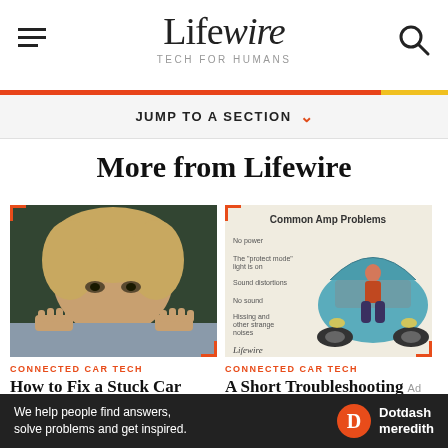Lifewire TECH FOR HUMANS
JUMP TO A SECTION
More from Lifewire
[Figure (photo): Child with blonde hair peeking over a surface with hands gripping the edge, dark background]
CONNECTED CAR TECH
How to Fix a Stuck Car
[Figure (illustration): Common Amp Problems - vintage illustration showing a person looking into the trunk of a blue car with a list of common amp problems on the left side, Lifewire logo at bottom]
CONNECTED CAR TECH
A Short Troubleshooting
We help people find answers, solve problems and get inspired. Dotdash meredith